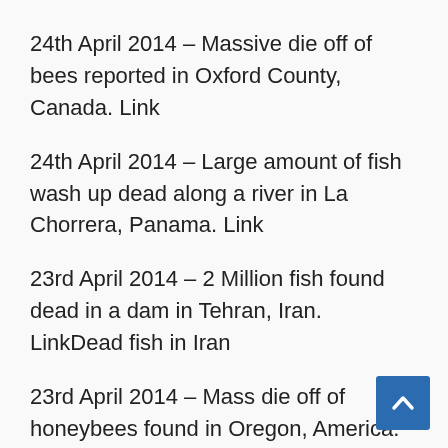24th April 2014 – Massive die off of bees reported in Oxford County, Canada. Link
24th April 2014 – Large amount of fish wash up dead along a river in La Chorrera, Panama. Link
23rd April 2014 – 2 Million fish found dead in a dam in Tehran, Iran. LinkDead fish in Iran
23rd April 2014 – Mass die off of honeybees found in Oregon, America. Link
23rd April 2014 – Mass die off of fish in Island lake in Ontario, Canada. Link